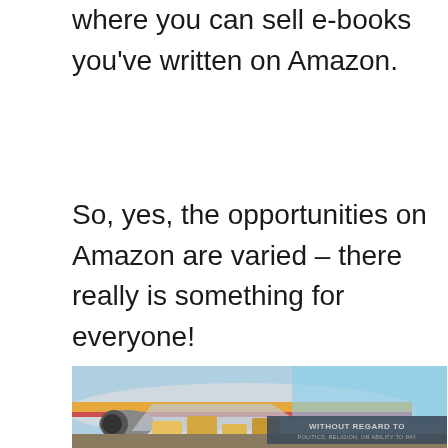where you can sell e-books you've written on Amazon.
So, yes, the opportunities on Amazon are varied – there really is something for everyone!
[Figure (photo): Photograph of cargo being loaded onto a commercial aircraft with a banner overlay reading 'WITHOUT REGARD TO POLITICS, RELIGION, OR ABILITY TO PAY']